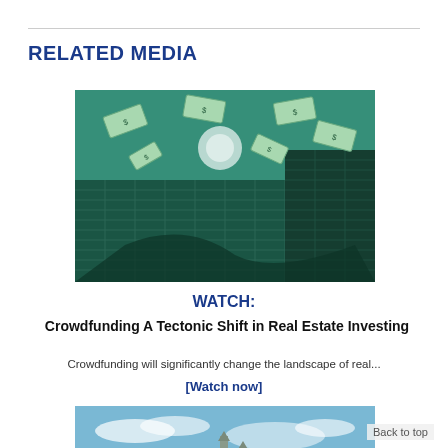RELATED MEDIA
[Figure (photo): Photo of a skyscraper building with dollar bills flying in the air above it, tinted green]
WATCH:
Crowdfunding A Tectonic Shift in Real Estate Investing
Crowdfunding will significantly change the landscape of real...
[Watch now]
[Figure (photo): Photo of a city skyline or monument against a blue sky with clouds]
Back to top